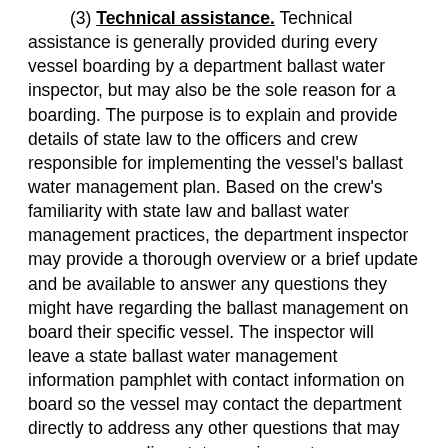(3) Technical assistance. Technical assistance is generally provided during every vessel boarding by a department ballast water inspector, but may also be the sole reason for a boarding. The purpose is to explain and provide details of state law to the officers and crew responsible for implementing the vessel's ballast water management plan. Based on the crew's familiarity with state law and ballast water management practices, the department inspector may provide a thorough overview or a brief update and be available to answer any questions they might have regarding the ballast management on board their specific vessel. The inspector will leave a state ballast water management information pamphlet with contact information on board so the vessel may contact the department directly to address any other questions that may come up regarding state requirements.
(4) Ballast water management audit. The department inspector may board a vessel and conduct an audit of its ballast water management documentation to verify compliance with state laws. An audit consists of reviewing the vessel's ballast water